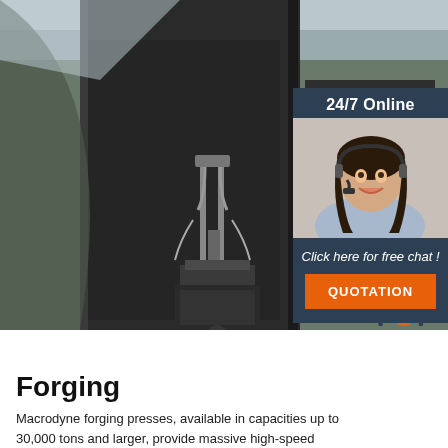[Figure (photo): Close-up photo of a large industrial forging press machine, dark grey/black metal, showing mechanical components, bolts, and hydraulic fittings in an industrial facility.]
[Figure (infographic): 24/7 online chat widget overlay with dark blue background, showing a smiling female customer service agent wearing a headset, with text 'Click here for free chat!' and an orange QUOTATION button.]
[Figure (logo): Orange and dark 'TOP' badge/logo with orange dots above the letters, positioned at bottom-right of the page image area.]
Forging
Macrodyne forging presses, available in capacities up to 30,000 tons and larger, provide massive high-speed